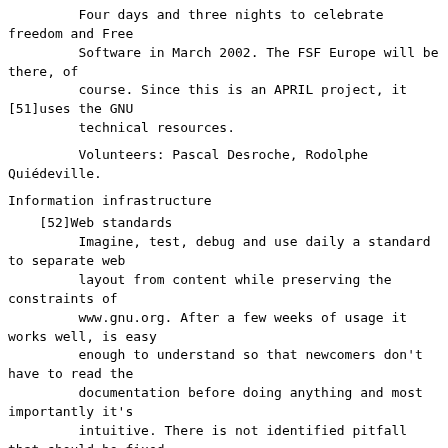Four days and three nights to celebrate freedom and Free Software in March 2002. The FSF Europe will be there, of course. Since this is an APRIL project, it [51]uses the GNU technical resources.
Volunteers: Pascal Desroche, Rodolphe Quiédeville.
Information infrastructure
[52]Web standards
Imagine, test, debug and use daily a standard to separate web layout from content while preserving the constraints of www.gnu.org. After a few weeks of usage it works well, is easy enough to understand so that newcomers don't have to read the documentation before doing anything and most importantly it's intuitive. There is not identified pitfall that should be fixed but is not.
Volunteers: Jaime Villate, Paul Vischer, Loïc Dachary, Richard